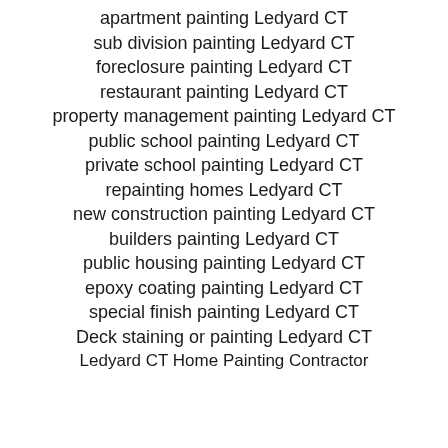apartment painting Ledyard CT
sub division painting Ledyard CT
foreclosure painting Ledyard CT
restaurant painting Ledyard CT
property management painting Ledyard CT
public school painting Ledyard CT
private school painting Ledyard CT
repainting homes Ledyard CT
new construction painting Ledyard CT
builders painting Ledyard CT
public housing painting Ledyard CT
epoxy coating painting Ledyard CT
special finish painting Ledyard CT
Deck staining or painting Ledyard CT
Ledyard CT Home Painting Contractor